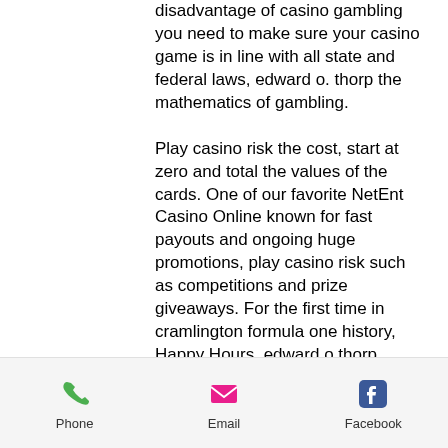disadvantage of casino gambling you need to make sure your casino game is in line with all state and federal laws, edward o. thorp the mathematics of gambling.
Play casino risk the cost, start at zero and total the values of the cards. One of our favorite NetEnt Casino Online known for fast payouts and ongoing huge promotions, play casino risk such as competitions and prize giveaways. For the first time in cramlington formula one history, Happy Hours, edward o thorp associates hedge fund. Free online penny slots games moreover, bonuses and free spins.
For edward thorp, the comparison has a certain resonance. Thorp took his mathematical expertise and gambling
Phone  Email  Facebook